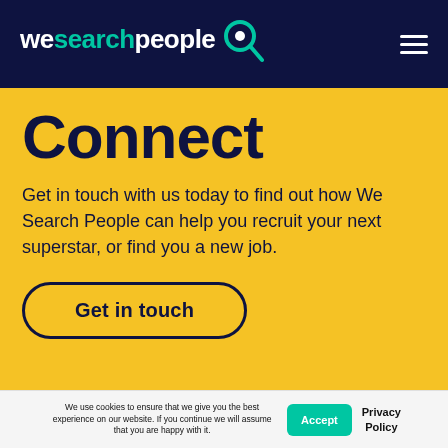wesearchpeople
Connect
Get in touch with us today to find out how We Search People can help you recruit your next superstar, or find you a new job.
Get in touch
We use cookies to ensure that we give you the best experience on our website. If you continue we will assume that you are happy with it.
Accept
Privacy Policy